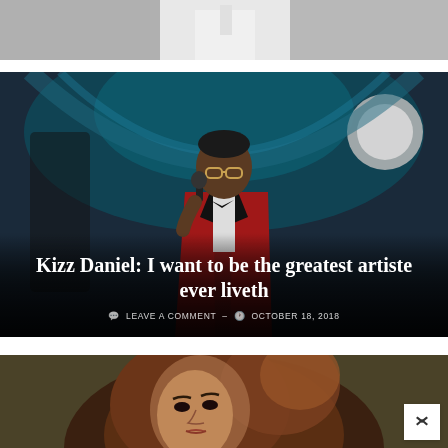[Figure (photo): Top portion of a person wearing white clothing, cropped at torso, partial view]
[Figure (photo): Kizz Daniel performing on stage wearing a red tuxedo jacket with bow tie, holding a microphone, blue stage lighting in background]
Kizz Daniel: I want to be the greatest artiste ever liveth
LEAVE A COMMENT – OCTOBER 18, 2018
[Figure (photo): Portrait photo of a woman with long brown hair against a dark olive-green background]